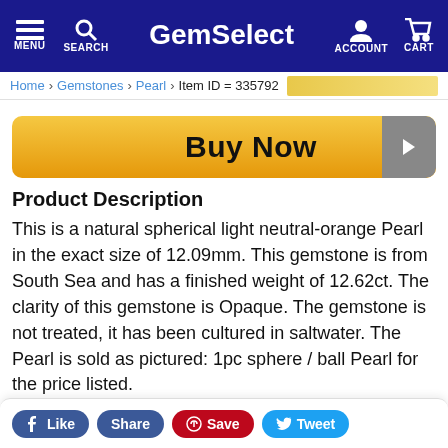GemSelect — MENU, SEARCH, ACCOUNT, CART
Home > Gemstones > Pearl > Item ID = 335792
Buy Now
Product Description
This is a natural spherical light neutral-orange Pearl in the exact size of 12.09mm. This gemstone is from South Sea and has a finished weight of 12.62ct. The clarity of this gemstone is Opaque. The gemstone is not treated, it has been cultured in saltwater. The Pearl is sold as pictured: 1pc sphere / ball Pearl for the price listed.